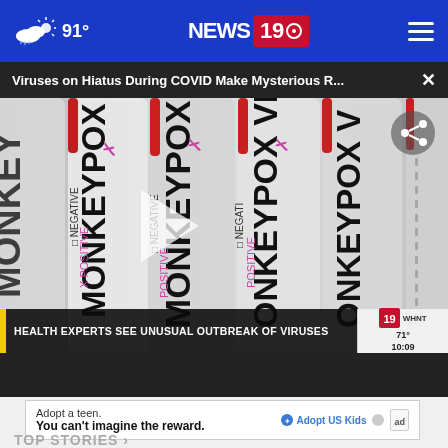91° NEWS 19
Viruses on Hiatus During COVID Make Mysterious R...
[Figure (screenshot): Video thumbnail of monkeypox test tubes labeled MONKEYPOX VIRUS POSITIVE, with a play button overlay. Lower third shows: HEALTH EXPERTS SEE UNUSUAL OUTBREAK OF VIRUSES. Station bug shows 19/WHNT, 71°, 10:09.]
SIGN UP NOW ›
Adopt a teen. You can't imagine the reward.
TOP STORIES ›